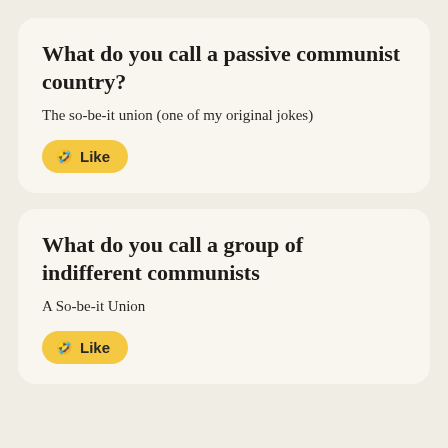What do you call a passive communist country?
The so-be-it union (one of my original jokes)
Like
What do you call a group of indifferent communists
A So-be-it Union
Like